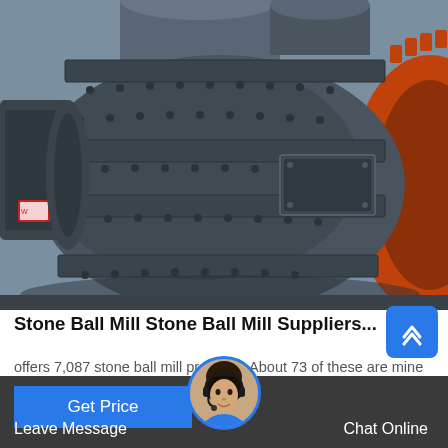[Figure (photo): Large industrial ball mill machinery photographed outdoors. Shows a large cylindrical steel drum with bolted plates and studded surface, with an orange/red circular end plate visible on the right. Industrial equipment for mining/grinding applications.]
Stone Ball Mill Stone Ball Mill Suppliers...
offers 7,087 stone ball mill products. About 73 of these are mine mill, 1 are grinding equipment, and 1 are c